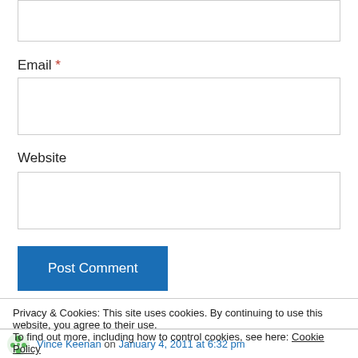[Figure (screenshot): Empty text input box (top, partially visible)]
Email *
[Figure (screenshot): Empty email input box]
Website
[Figure (screenshot): Empty website input box]
[Figure (screenshot): Post Comment button (blue)]
Privacy & Cookies: This site uses cookies. By continuing to use this website, you agree to their use.
To find out more, including how to control cookies, see here: Cookie Policy
[Figure (screenshot): Close and accept button]
Vince Keenan on January 4, 2011 at 6:32 pm